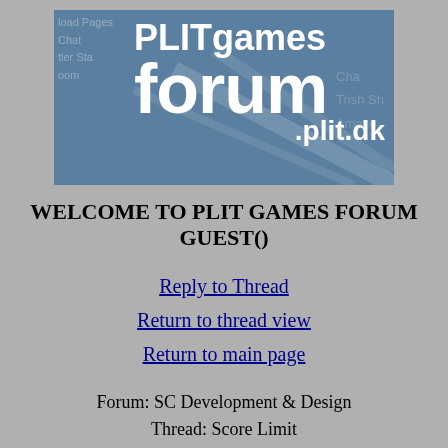[Figure (logo): PLITgames forum .plit.dk banner logo with blue-grey background and white bold text]
WELCOME TO PLIT GAMES FORUM
GUEST()
Reply to Thread
Return to thread view
Return to main page
Forum: SC Development & Design
Thread: Score Limit
|  | This is an idea for the never ending argument of fed feeding and how it makes it allmost impossible to take the top after the feeding has escellated.

Put in place a score cap. An empire can not go above a certain score. |